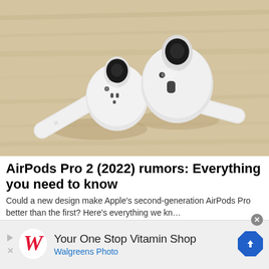[Figure (photo): Two white AirPods Pro earbuds lying on a light wood surface, showing the stems and ear tips, photographed from above at a slight angle.]
AirPods Pro 2 (2022) rumors: Everything you need to know
Could a new design make Apple's second-generation AirPods Pro better than the first? Here's everything we kn…
Imore
[Figure (logo): Walgreens advertisement banner: Walgreens cursive 'W' logo in red, text 'Your One Stop Vitamin Shop' and 'Walgreens Photo' in blue, with a blue navigation arrow diamond icon on the right.]